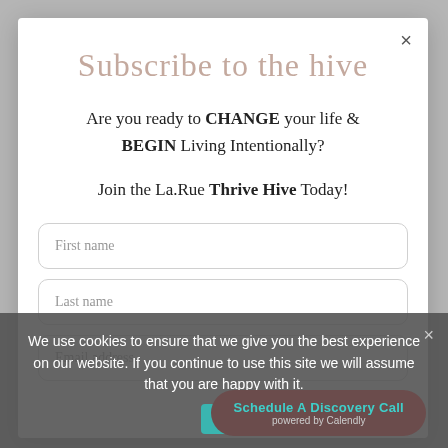Subscribe to the hive
Are you ready to CHANGE your life & BEGIN Living Intentionally?
Join the La.Rue Thrive Hive Today!
First name
Last name
Email address
We use cookies to ensure that we give you the best experience on our website. If you continue to use this site we will assume that you are happy with it.
Ok
Schedule A Discovery Call
powered by Calendly